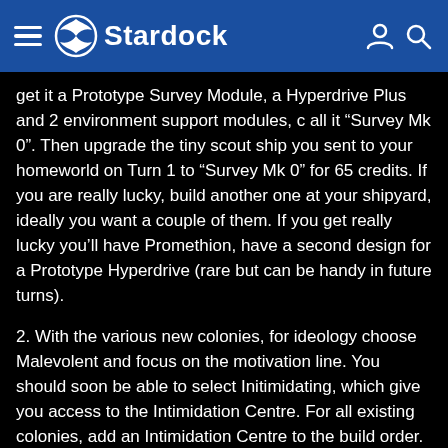Stardock
get it a Prototype Survey Module, a Hyperdrive Plus and 2 environment support modules, c all it “Survey Mk 0”. Then upgrade the tiny scout ship you sent to your homeworld on Turn 1 to “Survey Mk 0” for 65 credits. If you are really lucky, build another one at your shipyard, ideally you want a couple of them. If you get really lucky you’ll have Promethion, have a second design for a Prototype Hyperdrive (rare but can be handy in future turns).
2. With the various new colonies, for ideology choose Malevolent and focus on the motivation line. You should soon be able to select Initimidating, which give you access to the Intimidation Centre. For all existing colonies, add an Intimidation Centre to the build order. For new colonies, build 2 factories and an Intimidation Centre. Ideally select tiles that have an approval bonus.